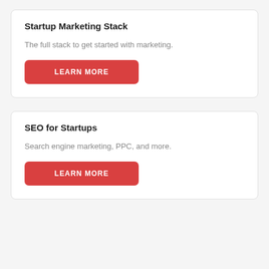Startup Marketing Stack
The full stack to get started with marketing.
LEARN MORE
SEO for Startups
Search engine marketing, PPC, and more.
LEARN MORE